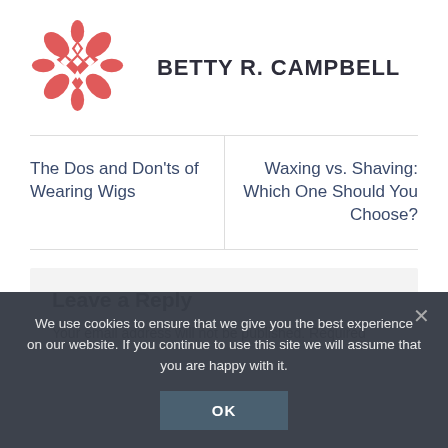[Figure (logo): Circular decorative snowflake/quilt pattern logo in coral/salmon red color]
BETTY R. CAMPBELL
The Dos and Don'ts of Wearing Wigs
Waxing vs. Shaving: Which One Should You Choose?
Leave a Reply
Your email address will not be published. Required
We use cookies to ensure that we give you the best experience on our website. If you continue to use this site we will assume that you are happy with it.
OK